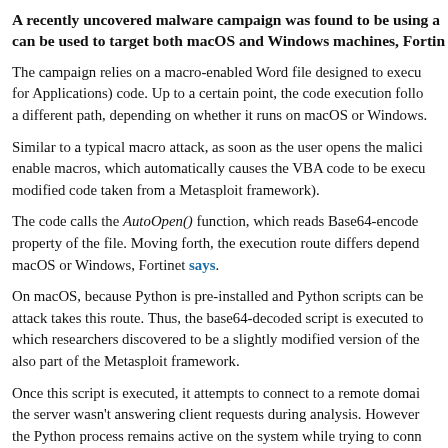A recently uncovered malware campaign was found to be using a [tool that] can be used to target both macOS and Windows machines, Fortinet [says].
The campaign relies on a macro-enabled Word file designed to execute VBA (Visual Basic for Applications) code. Up to a certain point, the code execution follows the same path, then takes a different path, depending on whether it runs on macOS or Windows.
Similar to a typical macro attack, as soon as the user opens the malicious file, they are asked to enable macros, which automatically causes the VBA code to be executed (this turns out to be modified code taken from a Metasploit framework).
The code calls the AutoOpen() function, which reads Base64-encoded data from the CustomDocumentProperties property of the file. Moving forth, the execution route differs depending on whether it runs on macOS or Windows, Fortinet says.
On macOS, because Python is pre-installed and Python scripts can be executed directly, the attack takes this route. Thus, the base64-decoded script is executed to run a Python script, which researchers discovered to be a slightly modified version of the Empire's Python agent, also part of the Metasploit framework.
Once this script is executed, it attempts to connect to a remote domain, but it turned out that the server wasn't answering client requests during analysis. However, researchers note that the Python process remains active on the system while trying to connect.